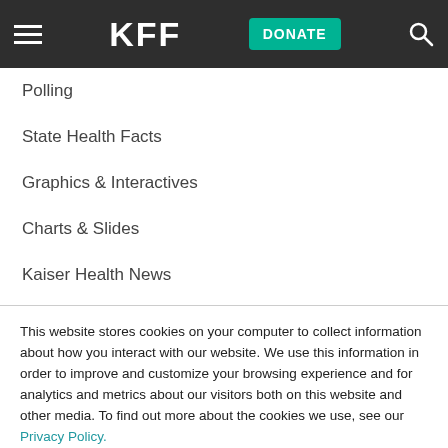KFF — DONATE
Polling
State Health Facts
Graphics & Interactives
Charts & Slides
Kaiser Health News
Social Impact Media
Peterson-KFF Health System Tracker
This website stores cookies on your computer to collect information about how you interact with our website. We use this information in order to improve and customize your browsing experience and for analytics and metrics about our visitors both on this website and other media. To find out more about the cookies we use, see our Privacy Policy.